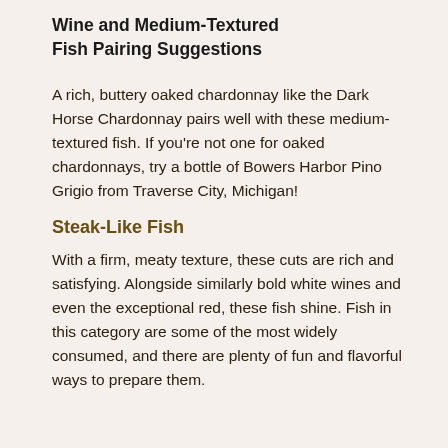Wine and Medium-Textured Fish Pairing Suggestions
A rich, buttery oaked chardonnay like the Dark Horse Chardonnay pairs well with these medium-textured fish. If you're not one for oaked chardonnays, try a bottle of Bowers Harbor Pino Grigio from Traverse City, Michigan!
Steak-Like Fish
With a firm, meaty texture, these cuts are rich and satisfying. Alongside similarly bold white wines and even the exceptional red, these fish shine. Fish in this category are some of the most widely consumed, and there are plenty of fun and flavorful ways to prepare them.